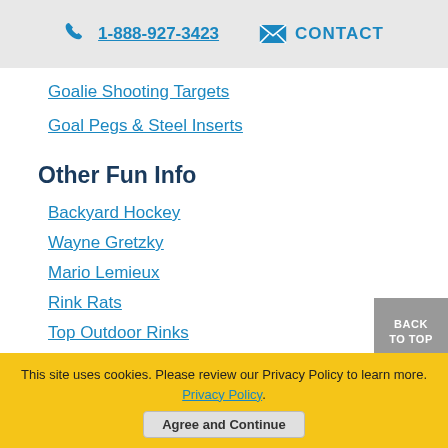1-888-927-3423  CONTACT
Goalie Shooting Targets
Goal Pegs & Steel Inserts
Other Fun Info
Backyard Hockey
Wayne Gretzky
Mario Lemieux
Rink Rats
Top Outdoor Rinks
This site uses cookies. Please review our Privacy Policy to learn more. Privacy Policy.
Agree and Continue